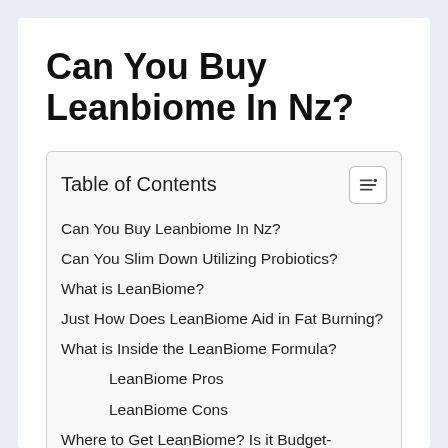Can You Buy Leanbiome In Nz?
Can You Buy Leanbiome In Nz?
Can You Slim Down Utilizing Probiotics?
What is LeanBiome?
Just How Does LeanBiome Aid in Fat Burning?
What is Inside the LeanBiome Formula?
LeanBiome Pros
LeanBiome Cons
Where to Get LeanBiome? Is it Budget-friendly?
LeanBiome Reimbursement Plan
LeanBiome Conclusion
ACT NOW & SAVE. Obtain LeanBiome From The